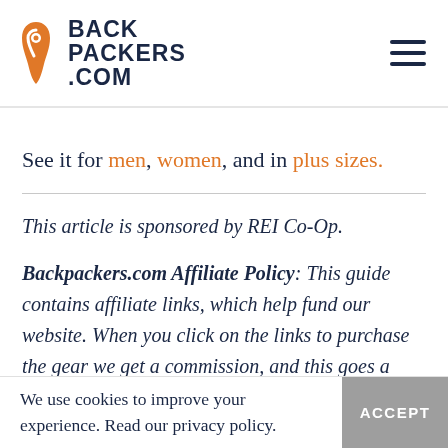BACKPACKERS.COM
See it for men, women, and in plus sizes.
This article is sponsored by REI Co-Op.
Backpackers.com Affiliate Policy: This guide contains affiliate links, which help fund our website. When you click on the links to purchase the gear we get a commission, and this goes a long way to creating guides, gear
We use cookies to improve your experience. Read our privacy policy.